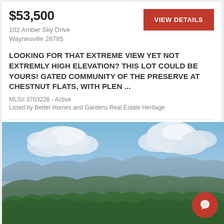$53,500
102 Amber Sky Drive
Waynesville 28785
VIEW DETAILS
LOOKING FOR THAT EXTREME VIEW YET NOT EXTREMLY HIGH ELEVATION? THIS LOT COULD BE YOURS! GATED COMMUNITY OF THE PRESERVE AT CHESTNUT FLATS, WITH PLEN ...
MLS# 3703226 - Active
Listed by Better Homes and Gardens Real Estate Heritage
[Figure (photo): Panoramic mountain view with blue sky, white clouds, rolling green mountain ridges, and dense forest in the foreground]